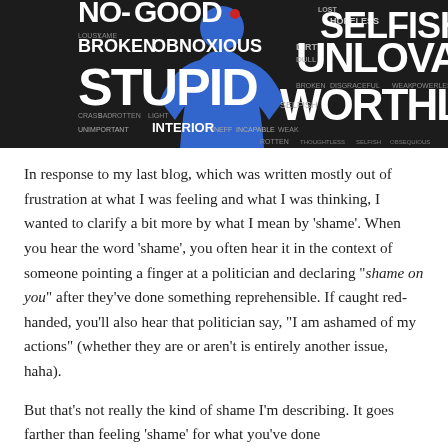[Figure (illustration): Word cloud image with negative self-talk words (NO GOOD, STUPID, BROKEN, OBNOXIOUS, UNLOVABLE, WORTHLESS, SELFISH, DIRTY, DULL, ROTTEN, INTERIOR, INCAPABLE, etc.) in white text on dark background, with a blue silhouette of a person in the center.]
In response to my last blog, which was written mostly out of frustration at what I was feeling and what I was thinking, I wanted to clarify a bit more by what I mean by 'shame'. When you hear the word 'shame', you often hear it in the context of someone pointing a finger at a politician and declaring "shame on you" after they've done something reprehensible. If caught red-handed, you'll also hear that politician say, "I am ashamed of my actions" (whether they are or aren't is entirely another issue, haha).
But that's not really the kind of shame I'm describing. It goes farther than feeling 'shame' for what you've done...